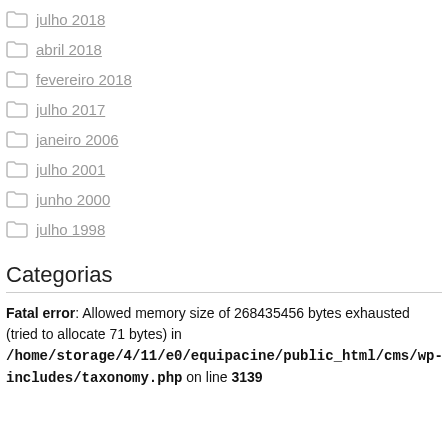julho 2018
abril 2018
fevereiro 2018
julho 2017
janeiro 2006
julho 2001
junho 2000
julho 1998
Categorias
Fatal error: Allowed memory size of 268435456 bytes exhausted (tried to allocate 71 bytes) in /home/storage/4/11/e0/equipacine/public_html/cms/wp-includes/taxonomy.php on line 3139